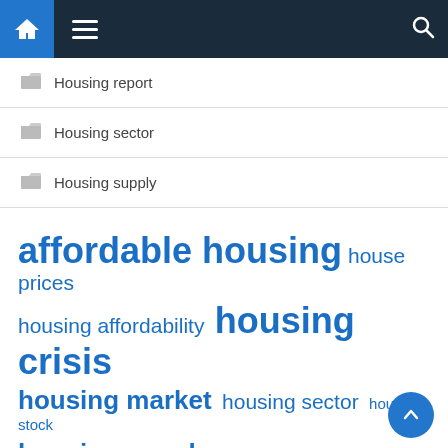Navigation bar with home, menu, and search icons
Housing report
Housing sector
Housing supply
[Figure (infographic): Tag cloud with housing-related terms in various sizes: affordable housing (largest), housing crisis, housing market, real estate, housing supply (large); house prices, housing affordability, housing sector, housing stock, housing units, interest rates, long term, short term (medium/small); single family, social housing (small at bottom)]